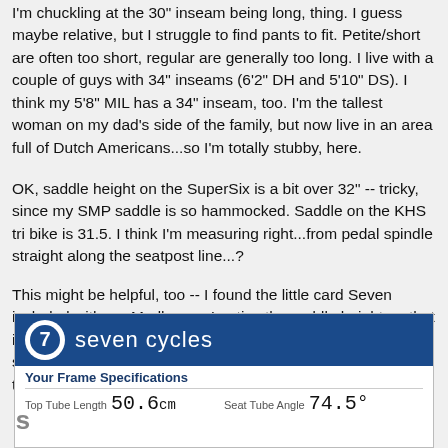I'm chuckling at the 30" inseam being long, thing. I guess maybe relative, but I struggle to find pants to fit. Petite/short are often too short, regular are generally too long. I live with a couple of guys with 34" inseams (6'2" DH and 5'10" DS). I think my 5'8" MIL has a 34" inseam, too. I'm the tallest woman on my dad's side of the family, but now live in an area full of Dutch Americans...so I'm totally stubby, here.
OK, saddle height on the SuperSix is a bit over 32" -- tricky, since my SMP saddle is so hammocked. Saddle on the KHS tri bike is 31.5. I think I'm measuring right...from pedal spindle straight along the seatpost line...?
This might be helpful, too -- I found the little card Seven included with my Mudhoney. I notice the saddle height on that is really low...so now I'm totally confused. I have the same saddle on the Seven that I have on the SuperSix...height is the same, as well.
[Figure (photo): A Seven Cycles 'Your Frame Specifications' card showing Top Tube Length (handwritten: 50.6cm) and Seat Tube Angle (handwritten: 74.5 degrees)]